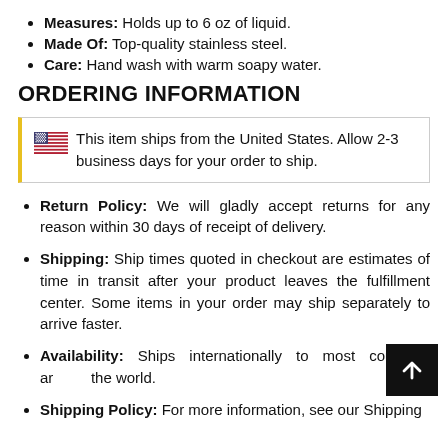Measures: Holds up to 6 oz of liquid.
Made Of: Top-quality stainless steel.
Care: Hand wash with warm soapy water.
ORDERING INFORMATION
This item ships from the United States. Allow 2-3 business days for your order to ship.
Return Policy: We will gladly accept returns for any reason within 30 days of receipt of delivery.
Shipping: Ship times quoted in checkout are estimates of time in transit after your product leaves the fulfillment center. Some items in your order may ship separately to arrive faster.
Availability: Ships internationally to most countries around the world.
Shipping Policy: For more information, see our Shipping